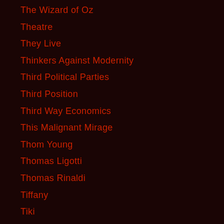The Wizard of Oz
Theatre
They Live
Thinkers Against Modernity
Third Political Parties
Third Position
Third Way Economics
This Malignant Mirage
Thom Young
Thomas Ligotti
Thomas Rinaldi
Tiffany
Tiki
Tila Tequila
Tim Biskup